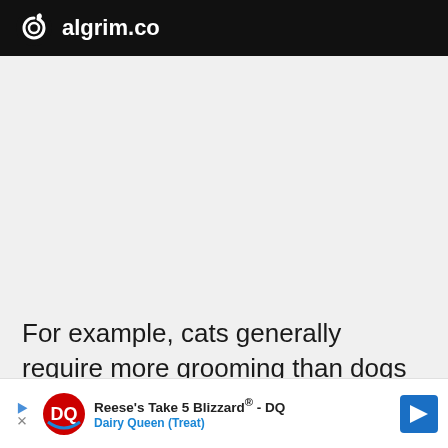algrim.co
[Figure (other): Empty gray advertisement placeholder area]
For example, cats generally require more grooming than dogs and thus tend to be more expensive. Full grooming service for a cat ... hile ...
[Figure (other): Reese's Take 5 Blizzard® - DQ advertisement banner with Dairy Queen (Treat) logo]